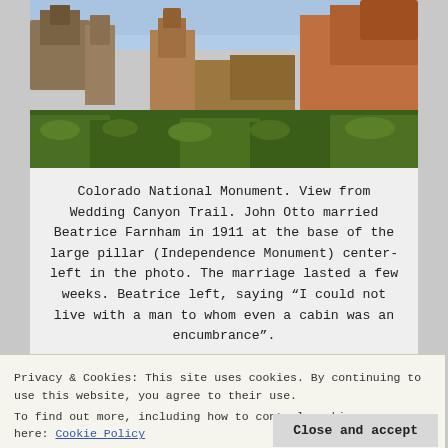[Figure (photo): Colorado National Monument landscape photo showing red rock formations, canyon walls, and desert vegetation viewed from Wedding Canyon Trail]
Colorado National Monument. View from Wedding Canyon Trail. John Otto married Beatrice Farnham in 1911 at the base of the large pillar (Independence Monument) center-left in the photo. The marriage lasted a few weeks. Beatrice left, saying “I could not live with a man to whom even a cabin was an encumbrance”.
[Figure (photo): Partial view of Colorado National Monument showing blue sky and canyon rim]
Privacy & Cookies: This site uses cookies. By continuing to use this website, you agree to their use.
To find out more, including how to control cookies, see here: Cookie Policy
Close and accept